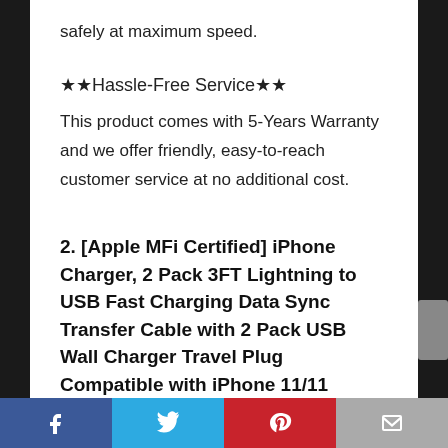safely at maximum speed.
★★Hassle-Free Service★★
This product comes with 5-Years Warranty and we offer friendly, easy-to-reach customer service at no additional cost.
2. [Apple MFi Certified] iPhone Charger, 2 Pack 3FT Lightning to USB Fast Charging Data Sync Transfer Cable with 2 Pack USB Wall Charger Travel Plug Compatible with iPhone 11/11 Pro/XS/XR/X 8 7 6, iPad
Facebook | Twitter | Pinterest | Email